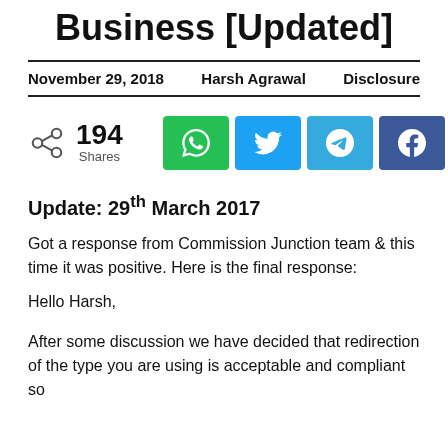Business [Updated]
November 29, 2018   Harsh Agrawal   Disclosure
[Figure (infographic): Social share bar showing 194 Shares with buttons for WhatsApp, Twitter, Telegram, Facebook, and Email]
Update: 29th March 2017
Got a response from Commission Junction team & this time it was positive. Here is the final response:
Hello Harsh,
After some discussion we have decided that redirection of the type you are using is acceptable and compliant so